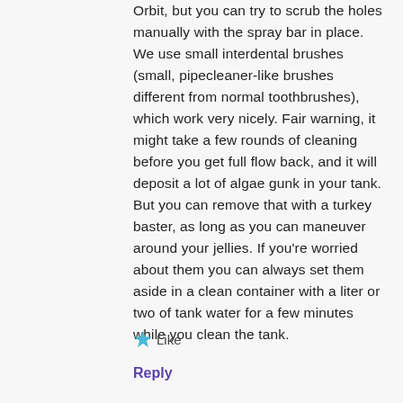Orbit, but you can try to scrub the holes manually with the spray bar in place. We use small interdental brushes (small, pipecleaner-like brushes different from normal toothbrushes), which work very nicely. Fair warning, it might take a few rounds of cleaning before you get full flow back, and it will deposit a lot of algae gunk in your tank. But you can remove that with a turkey baster, as long as you can maneuver around your jellies. If you're worried about them you can always set them aside in a clean container with a liter or two of tank water for a few minutes while you clean the tank.
Like
Reply